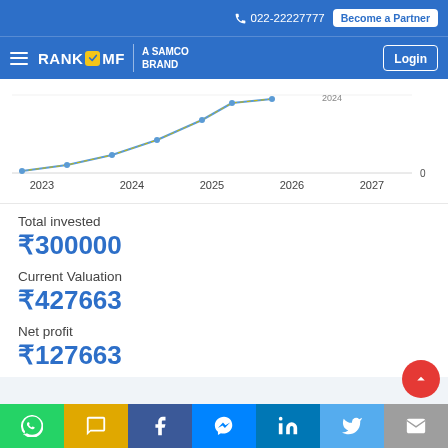022-22227777   Become a Partner
RANK MF A SAMCO BRAND   Login
[Figure (line-chart): Investment growth chart]
Total invested
₹300000
Current Valuation
₹427663
Net profit
₹127663